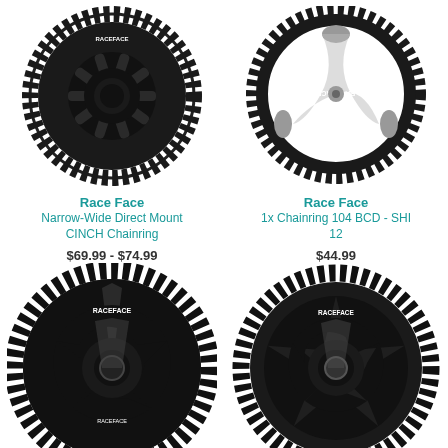[Figure (photo): Race Face Narrow-Wide Direct Mount CINCH Chainring - black chainring, top left]
Race Face
Narrow-Wide Direct Mount CINCH Chainring
$69.99 - $74.99
[Figure (photo): Race Face 1x Chainring 104 BCD - SHI 12 - black chainring with grey accents, top right]
Race Face
1x Chainring 104 BCD - SHI 12
$44.99
[Figure (photo): Race Face chainring bottom left - black with 5-spoke design]
[Figure (photo): Race Face chainring bottom right - black with 5-spoke design]